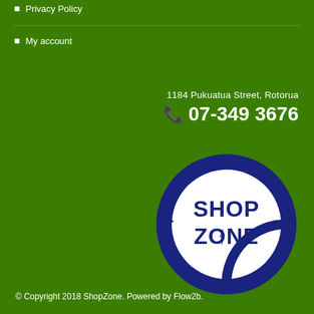Privacy Policy
My account
1184 Pukuatua Street, Rotorua
07-349 3676
[Figure (logo): ShopZone circular logo with dark blue circle, white interior, and SHOP ZONE text in dark blue with arrow motif]
© Copyright 2018 ShopZone. Powered by Flow2b.